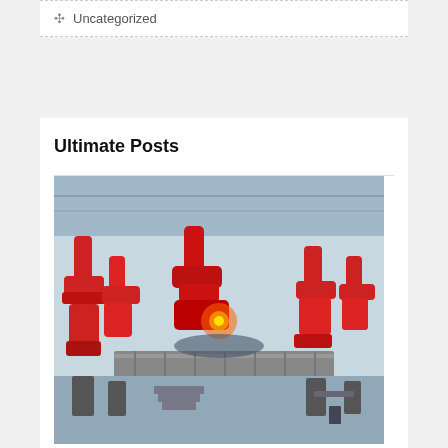✣ Uncategorized
Ultimate Posts
[Figure (photo): Aerial view of Tesla factory floor with many red robotic arms assembling vehicles on a production line]
Tesla's Shanghai workers reportedly sleeping at factory
[Figure (photo): Partial view of a second article image visible at the bottom of the page, showing what appears to be a glass building exterior]